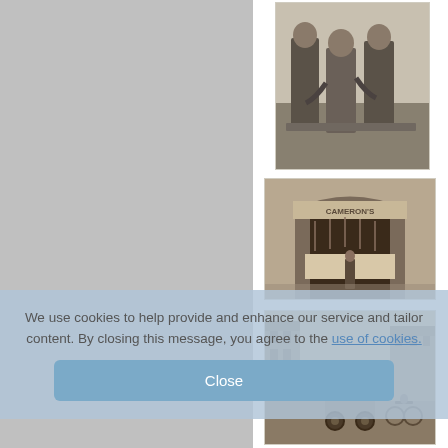[Figure (photo): Black and white photograph of three men standing together outdoors, wearing work clothes]
[Figure (photo): Sepia photograph of Cameron's shop front with hanging meat displayed, a person standing in front]
[Figure (photo): Sepia photograph of a street scene with an early automobile and buildings in background]
We use cookies to help provide and enhance our service and tailor content. By closing this message, you agree to the use of cookies.
Close